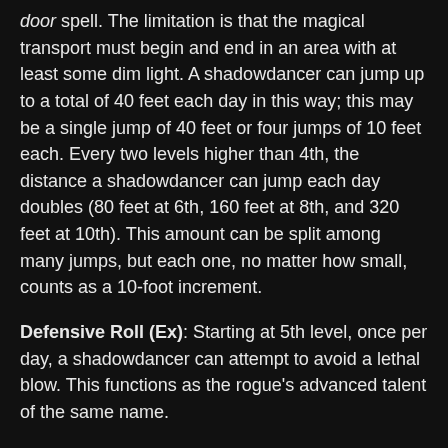door spell. The limitation is that the magical transport must begin and end in an area with at least some dim light. A shadowdancer can jump up to a total of 40 feet each day in this way; this may be a single jump of 40 feet or four jumps of 10 feet each. Every two levels higher than 4th, the distance a shadowdancer can jump each day doubles (80 feet at 6th, 160 feet at 8th, and 320 feet at 10th). This amount can be split among many jumps, but each one, no matter how small, counts as a 10-foot increment.
Defensive Roll (Ex): Starting at 5th level, once per day, a shadowdancer can attempt to avoid a lethal blow. This functions as the rogue's advanced talent of the same name.
Improved Uncanny Dodge (Ex): At 5th level and higher, shadowdancer can no longer be flanked. This defense denies a rogue the ability to sneak attack the assassin by flanking him, unless the attacker has at least four more rogue levels than the target has assassin levels.